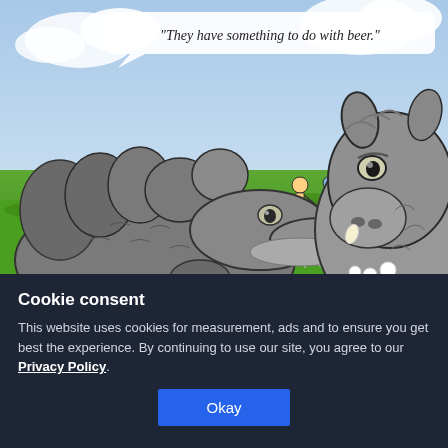[Figure (illustration): Cartoon illustration of a large grey alligator/crocodile on the left facing a grey boar/warthog on the right, on a green grassy field. In the background, golfers are playing golf on a course under a blue sky with clouds. A speech bubble at the top reads: "They have something to do with beer."]
Cookie consent
This website uses cookies for measurement, ads and to ensure you get best the experience. By continuing to use our site, you agree to our Privacy Policy.
Okay